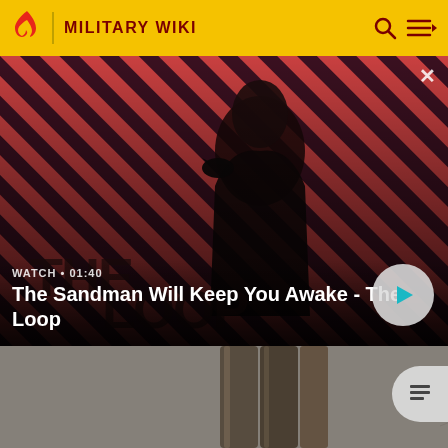MILITARY WIKI
[Figure (screenshot): Video promo card showing a dark figure with a crow on their shoulder against a red diagonal striped background. Text overlay: WATCH • 01:40, The Sandman Will Keep You Awake - The Loop. Play button on right.]
[Figure (photo): Bottom portion of a second card showing what appears to be metal pipes or gun barrels against a concrete wall. Article icon button on right edge.]